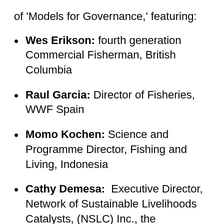of 'Models for Governance,' featuring:
Wes Erikson: fourth generation Commercial Fisherman, British Columbia
Raul Garcia: Director of Fisheries, WWF Spain
Momo Kochen: Science and Programme Director, Fishing and Living, Indonesia
Cathy Demesa: Executive Director, Network of Sustainable Livelihoods Catalysts, (NSLC) Inc., the Philippines
Dr Sunoto: Advisor to the Minister of Marine